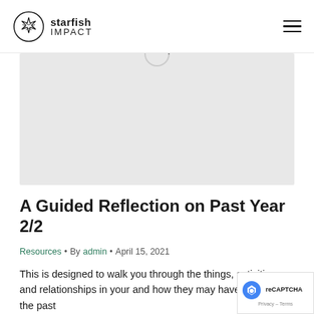starfish IMPACT
[Figure (photo): Gray hero image area with a partially visible loading spinner circle at the top center]
A Guided Reflection on Past Year 2/2
Resources • By admin • April 15, 2021
This is designed to walk you through the things, activities, and relationships in your and how they may have changed in the past